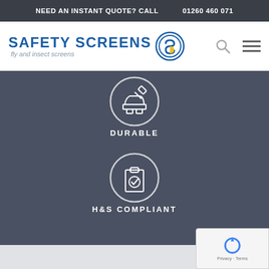NEED AN INSTANT QUOTE? CALL   01260 460 071
[Figure (logo): Safety Screens logo with text 'fly and insect screens' and circular icon with S, search icon, and hamburger menu icon]
[Figure (illustration): Circle icon with anvil and hammer symbol above text DURABLE on dark background]
DURABLE
[Figure (illustration): Circle icon with clipboard and checkmark symbol above text H&S COMPLIANT on dark background]
H&S COMPLIANT